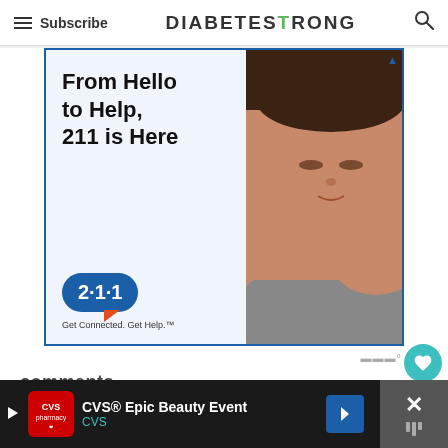Subscribe | DIABETESTRONG
[Figure (screenshot): Advertisement banner: '211 is Here – From Hello to Help, 211 is Here' with 2·1·1 Get Connected. Get Help. badge next to an image of a child hugging someone]
72
comments
[Figure (screenshot): Bottom advertisement bar: CVS® Epic Beauty Event by CVS, with CVS pharmacy logo, blue diamond arrow icon, and close button with X]